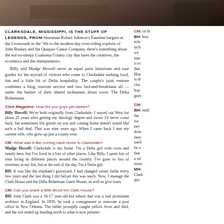[Figure (photo): Top photo strip showing an outdoor scene]
CLARKSDALE, MISSISSIPPI, IS THE STUFF OF LEGENDS, FROM bluesman Robert Johnson's Faustian bargain at the Crossroads in the '30s to the modern-day river-riding exploits of John Ruskey and the Quapaw Canoe Company, there's something about the not-so-sleepy Coahoma County city that lures the creatives, the eccentrics and the entrepreneurs.
Billy and Madge Howell serve as equal parts historians and tour guides for the myriad of visitors who come to Clarksdale seeking food, fun and a little bit of Delta hospitality. The couple's joint venture combines a blog, tourism service and two bed-and-breakfasts all — under the banner of their shared nicknames about town: The Delta Bohemians.
Click Magazine: How did you guys get started?
Billy Howell: We're both originally from Clarksdale. I stayed out West for about 25 years after getting my theology degree and swore I'd never come back, but sometimes life grinds on you and coming home doesn't sound like such a bad deal. That was nine years ago. When I came back I met my current wife, who grew up just a county over.
CM: What was it like coming back home to Clarksdale?
Madge Howell: Clarksdale is my home. I'm a Delta girl with roots and family here, but I've lived in a lots of other places. Like Billy, I spent lots of time living in different places around the country. I've gone to lots of extremes in my life, but at the end of the day, I'm a Delta girl.
BH: It was like the elephant's graveyard. I had changed career fields every few years and the last thing I did before this was teach. Now, I manage the Clark House and the Delta Bohemian Guest House, as well as give tours.
CM: Can you share a little about the Clark House?
BH: John Clark was a 16-17 year-old kid whose dad was a real prominent architect in England. In 1839, he took a consignment to renovate a post office in New Orleans. The father promptly caught yellow fever and died, and the son ended up heading north to what is now present-